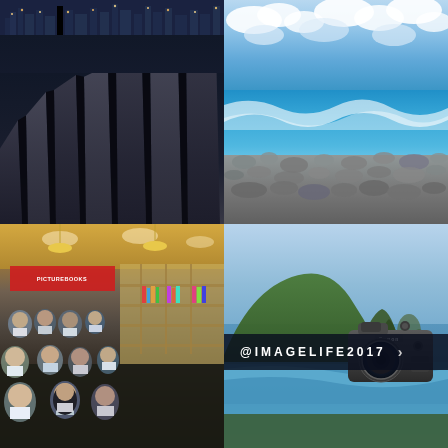[Figure (photo): Top-left: Dark photo of piano keys in foreground with city skyline lights in background at night]
[Figure (photo): Top-right: Ocean/beach scene with bright blue water, waves, rocky shore, and dramatic cloudy sky]
[Figure (photo): Bottom-left: Indoor bookstore or event space with crowd of masked people seated in rows, red promotional banner visible, wooden bookshelves in background]
[Figure (photo): Bottom-right: Coastal landscape with green mountains and ocean, overlaid with a Canon camera, and text overlay reading @IMAGELIFE2017 with arrow]
@IMAGELIFE2017 >